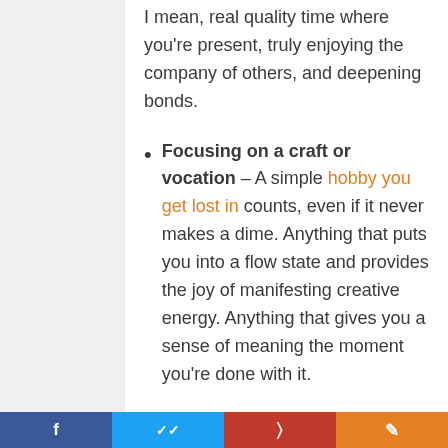I mean, real quality time where you're present, truly enjoying the company of others, and deepening bonds.
Focusing on a craft or vocation – A simple hobby you get lost in counts, even if it never makes a dime. Anything that puts you into a flow state and provides the joy of manifesting creative energy. Anything that gives you a sense of meaning the moment you're done with it.
Learning and analyzing your
Social share bar with Facebook, Twitter, Pinterest, and other icons